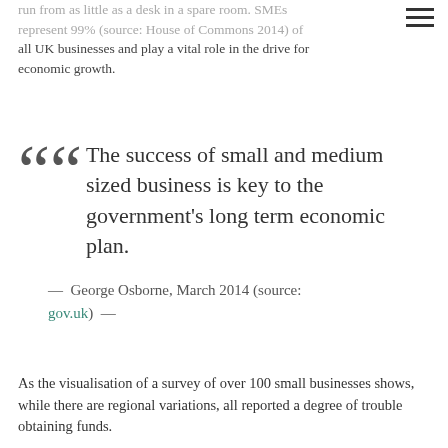run from as little as a desk in a spare room. SMEs represent 99% (source: House of Commons 2014) of all UK businesses and play a vital role in the drive for economic growth.
“ The success of small and medium sized business is key to the government's long term economic plan.
— George Osborne, March 2014 (source: gov.uk) —
As the visualisation of a survey of over 100 small businesses shows, while there are regional variations, all reported a degree of trouble obtaining funds.